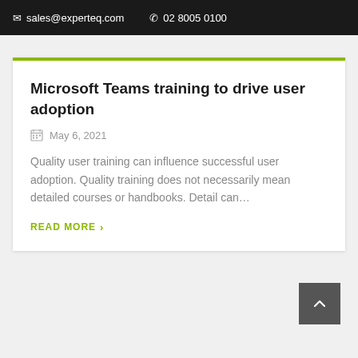✉ sales@experteq.com   ☎ 02 8005 0100
Microsoft Teams training to drive user adoption
May 6, 2021
Quality user training can influence successful user adoption. Quality training does not necessarily mean detailed courses or handbooks. Detail can…
READ MORE ›